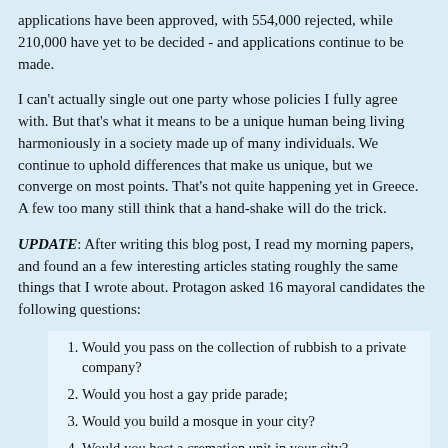applications have been approved, with 554,000 rejected, while 210,000 have yet to be decided - and applications continue to be made.
I can't actually single out one party whose policies I fully agree with. But that's what it means to be a unique human being living harmoniously in a society made up of many individuals. We continue to uphold differences that make us unique, but we converge on most points. That's not quite happening yet in Greece. A few too many still think that a hand-shake will do the trick.
UPDATE: After writing this blog post, I read my morning papers, and found an a few interesting articles stating roughly the same things that I wrote about. Protagon asked 16 mayoral candidates the following questions:
Would you pass on the collection of rubbish to a private company?
Would you host a gay pride parade;
Would you build a mosque in your city?
Would you host a cremation unit in your city?
Are you for homosexual weddings?